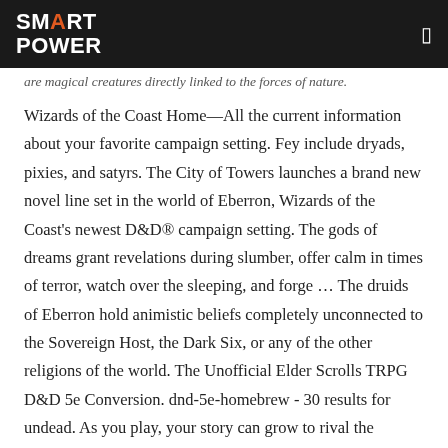SMART POWER
are magical creatures directly linked to the forces of nature. Wizards of the Coast Home—All the current information about your favorite campaign setting. Fey include dryads, pixies, and satyrs. The City of Towers launches a brand new novel line set in the world of Eberron, Wizards of the Coast's newest D&D® campaign setting. The gods of dreams grant revelations during slumber, offer calm in times of terror, watch over the sleeping, and forge … The druids of Eberron hold animistic beliefs completely unconnected to the Sovereign Host, the Dark Six, or any of the other religions of the world. The Unofficial Elder Scrolls TRPG D&D 5e Conversion. dnd-5e-homebrew - 30 results for undead. As you play, your story can grow to rival the greatest of legends. 5e SRD >Gamemastering >Monsters & Foes >Monsters By Type > Fey. Though it's a full campaign setting, Dark Matter is